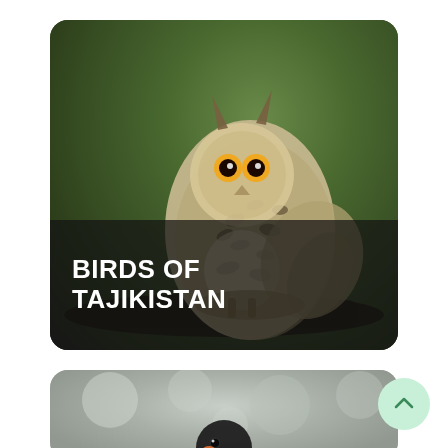[Figure (photo): Card showing an owl (Eurasian eagle-owl) perched on a branch against a green bokeh background, with text overlay reading BIRDS OF TAJIKISTAN]
BIRDS OF TAJIKISTAN
[Figure (photo): Partial card at bottom showing a blurred grey background with a dark bird being held, partially visible]